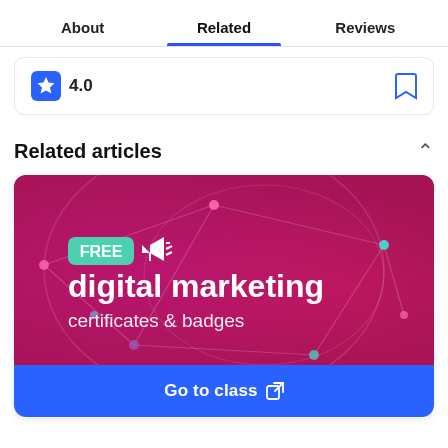About | Related | Reviews
4.0
Related articles
[Figure (illustration): Promotional banner image with pink/magenta gradient background with network node design. Shows 'FREE' badge in teal, megaphone icon, and text 'digital marketing certificates & badges' in white.]
Go to class